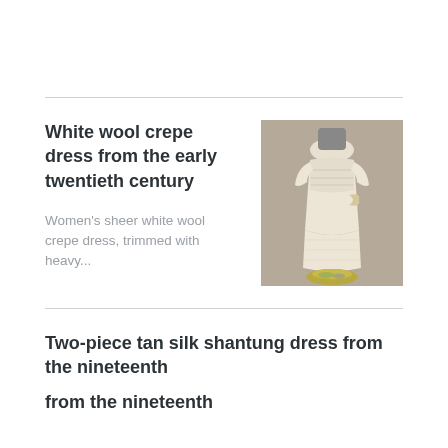White wool crepe dress from the early twentieth century
Women's sheer white wool crepe dress, trimmed with heavy...
[Figure (photo): Photograph of a white wool crepe dress on a mannequin, shown from the back, displayed on a gold-colored base.]
Two-piece tan silk shantung dress from the nineteenth...